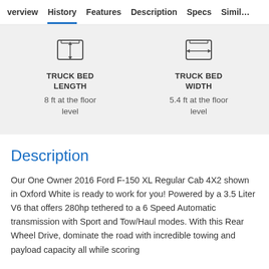verview  History  Features  Description  Specs  Simil...
[Figure (illustration): Truck bed length icon — top-down view of a truck bed with a vertical double-headed arrow indicating length]
TRUCK BED LENGTH
8 ft at the floor level
[Figure (illustration): Truck bed width icon — top-down view of a truck bed with a horizontal double-headed arrow indicating width]
TRUCK BED WIDTH
5.4 ft at the floor level
Description
Our One Owner 2016 Ford F-150 XL Regular Cab 4X2 shown in Oxford White is ready to work for you! Powered by a 3.5 Liter V6 that offers 280hp tethered to a 6 Speed Automatic transmission with Sport and Tow/Haul modes. With this Rear Wheel Drive, dominate the road with incredible towing and payload capacity all while scoring